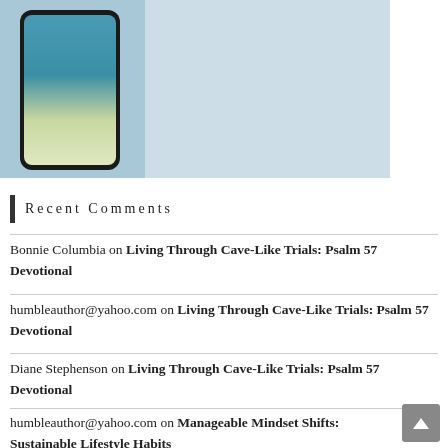[Figure (illustration): Promotional banner image showing a smartphone with a beach/ocean scene on its screen, set against a light coastal background, with text 'Stress & Anxiety!' and subtitle '15 Experts Team up to Pave Your Way to Freedom']
Recent Comments
Bonnie Columbia on Living Through Cave-Like Trials: Psalm 57 Devotional
humbleauthor@yahoo.com on Living Through Cave-Like Trials: Psalm 57 Devotional
Diane Stephenson on Living Through Cave-Like Trials: Psalm 57 Devotional
humbleauthor@yahoo.com on Manageable Mindset Shifts: Sustainable Lifestyle Habits